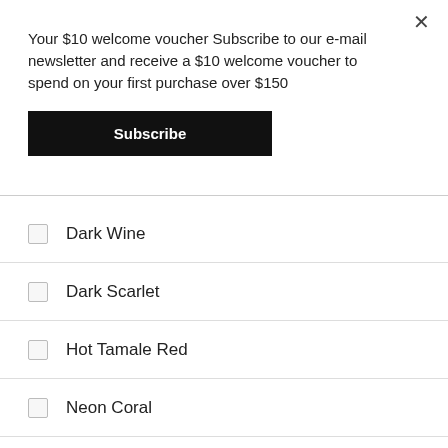Your $10 welcome voucher Subscribe to our e-mail newsletter and receive a $10 welcome voucher to spend on your first purchase over $150
Subscribe
Dark Wine
Dark Scarlet
Hot Tamale Red
Neon Coral
Meloncholy
Neon Orange